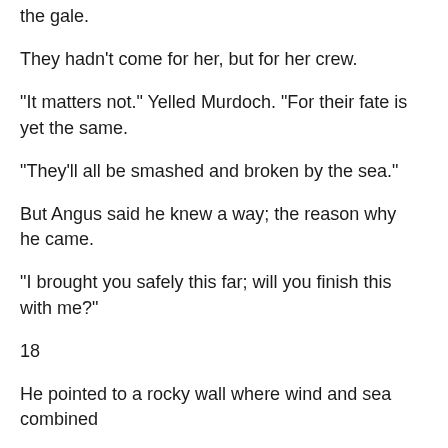the gale.
They hadn't come for her, but for her crew.
“It matters not.”  Yelled Murdoch.  “For their fate is yet the same.
“They’ll all be smashed and broken by the sea.”
But Angus said he knew a way; the reason why he came.
“I brought you safely this far; will you finish this with me?”
18
He pointed to a rocky wall where wind and sea combined
To carve out several ledges over time.